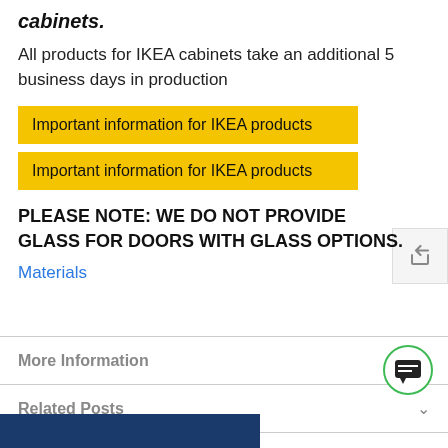cabinets.
All products for IKEA cabinets take an additional 5 business days in production
Important information for IKEA products
Important information for IKEA products
PLEASE NOTE: WE DO NOT PROVIDE GLASS FOR DOORS WITH GLASS OPTIONS.
Materials
More Information
Related Posts